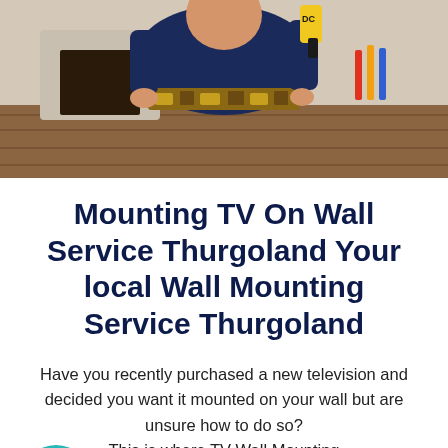[Figure (photo): A technician in work gear holding a drill, wearing a tool belt, visible from the torso up against a wood floor background]
Mounting TV On Wall Service Thurgoland Your local Wall Mounting Service Thurgoland
Have you recently purchased a new television and decided you want it mounted on your wall but are unsure how to do so? This is where TV Wall Mounting Thurgoland come in. Furthermore, TV Wall Mounts Thurgoland will come to your